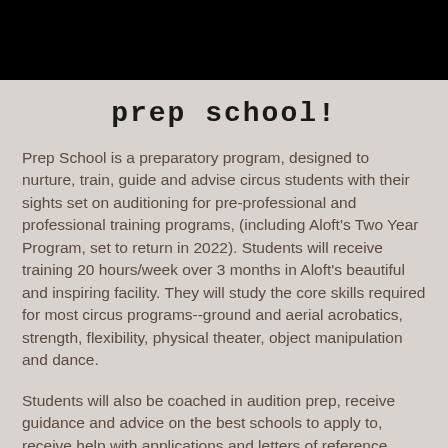[Figure (photo): Black banner/header image at the top of the page]
prep school!
Prep School is a preparatory program, designed to nurture, train, guide and advise circus students with their sights set on auditioning for pre-professional and professional training programs, (including Aloft's Two Year Program, set to return in 2022). Students will receive training 20 hours/week over 3 months in Aloft's beautiful and inspiring facility. They will study the core skills required for most circus programs--ground and aerial acrobatics, strength, flexibility, physical theater, object manipulation and dance.
Students will also be coached in audition prep, receive guidance and advice on the best schools to apply to, receive help with applications and letters of reference, assistance with filming of audition videos, and anything else needed to make their